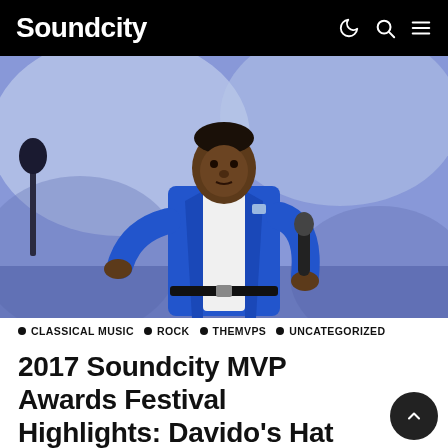Soundcity
[Figure (photo): A man in a blue blazer holding a microphone on stage, with a purple/blue lit background. He appears to be performing or speaking at an event.]
● CLASSICAL MUSIC  ● ROCK  ● THEMVPS  ● UNCATEGORIZED
2017 Soundcity MVP Awards Festival Highlights: Davido's Hat Trick, 2baba's Performance, Maleek